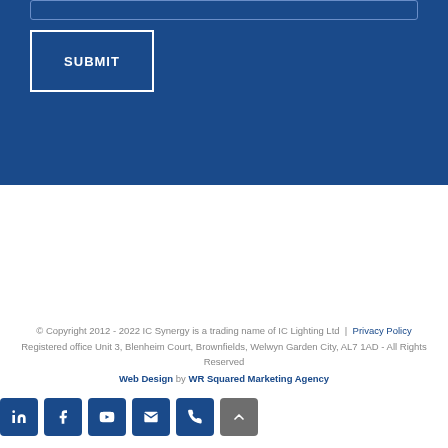SUBMIT
© Copyright 2012 - 2022 IC Synergy is a trading name of IC Lighting Ltd | Privacy Policy
Registered office Unit 3, Blenheim Court, Brownfields, Welwyn Garden City, AL7 1AD - All Rights Reserved
Web Design by WR Squared Marketing Agency